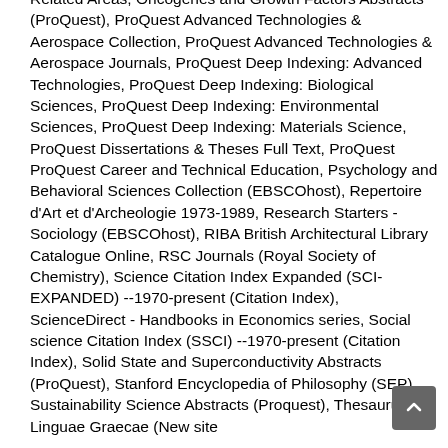Related Areas, Oncogenes and Growth Factors Abstracts (ProQuest), ProQuest Advanced Technologies & Aerospace Collection, ProQuest Advanced Technologies & Aerospace Journals, ProQuest Deep Indexing: Advanced Technologies, ProQuest Deep Indexing: Biological Sciences, ProQuest Deep Indexing: Environmental Sciences, ProQuest Deep Indexing: Materials Science, ProQuest Dissertations & Theses Full Text, ProQuest ProQuest Career and Technical Education, Psychology and Behavioral Sciences Collection (EBSCOhost), Repertoire d'Art et d'Archeologie 1973-1989, Research Starters - Sociology (EBSCOhost), RIBA British Architectural Library Catalogue Online, RSC Journals (Royal Society of Chemistry), Science Citation Index Expanded (SCI-EXPANDED) --1970-present (Citation Index), ScienceDirect - Handbooks in Economics series, Social science Citation Index (SSCI) --1970-present (Citation Index), Solid State and Superconductivity Abstracts (ProQuest), Stanford Encyclopedia of Philosophy (SEP), Sustainability Science Abstracts (Proquest), Thesaurus Linguae Graecae (New site